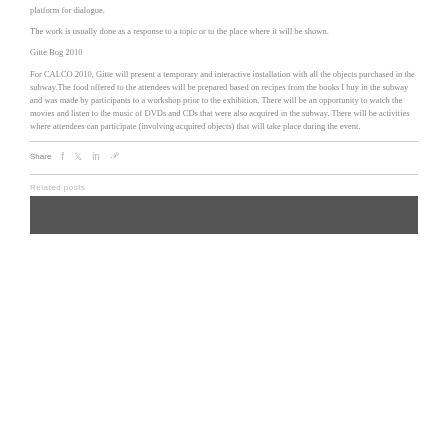platform for dialogue.
The work is usually done as a response to a topic or to the place where it will be shown.
Gitte Bog 2010
For CALCO 2010, Gitte will present a temporary and interactive installation with all the objects purchased in the subway.The food offered to the attendees will be prepared based on recipes from the books I buy in the subway and was made by participants to a workshop prior to the exhibition. There will be an opportunity to watch the movies and listen to the music of DVDs and CDs that were also acquired in the subway. There will be activities where attendees can participate (involving acquired objects) that will take place during the event.
Share
Related posts
[Figure (photo): Dark image, related post thumbnail]